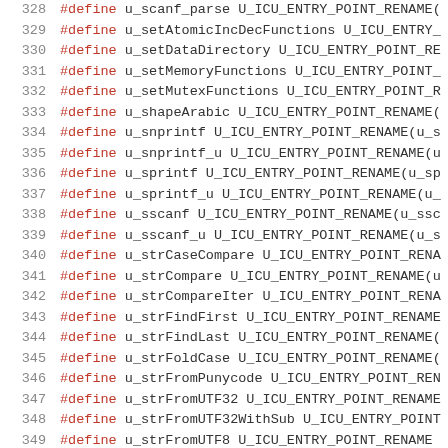328 #define u_scanf_parse U_ICU_ENTRY_POINT_RENAME(
329 #define u_setAtomicIncDecFunctions U_ICU_ENTRY_
330 #define u_setDataDirectory U_ICU_ENTRY_POINT_RE
331 #define u_setMemoryFunctions U_ICU_ENTRY_POINT_
332 #define u_setMutexFunctions U_ICU_ENTRY_POINT_R
333 #define u_shapeArabic U_ICU_ENTRY_POINT_RENAME(
334 #define u_snprintf U_ICU_ENTRY_POINT_RENAME(u_s
335 #define u_snprintf_u U_ICU_ENTRY_POINT_RENAME(u
336 #define u_sprintf U_ICU_ENTRY_POINT_RENAME(u_sp
337 #define u_sprintf_u U_ICU_ENTRY_POINT_RENAME(u_
338 #define u_sscanf U_ICU_ENTRY_POINT_RENAME(u_ssc
339 #define u_sscanf_u U_ICU_ENTRY_POINT_RENAME(u_s
340 #define u_strCaseCompare U_ICU_ENTRY_POINT_RENA
341 #define u_strCompare U_ICU_ENTRY_POINT_RENAME(u
342 #define u_strCompareIter U_ICU_ENTRY_POINT_RENA
343 #define u_strFindFirst U_ICU_ENTRY_POINT_RENAME
344 #define u_strFindLast U_ICU_ENTRY_POINT_RENAME(
345 #define u_strFoldCase U_ICU_ENTRY_POINT_RENAME(
346 #define u_strFromPunycode U_ICU_ENTRY_POINT_REN
347 #define u_strFromUTF32 U_ICU_ENTRY_POINT_RENAME
348 #define u_strFromUTF32WithSub U_ICU_ENTRY_POINT
349 #define u_strFromUTF8 U_ICU_ENTRY_POINT_RENAME